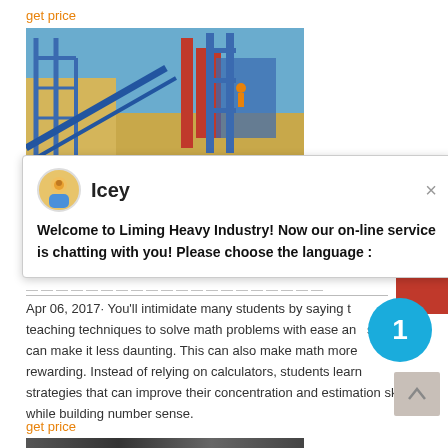get price
[Figure (photo): Industrial facility with blue metal scaffolding, conveyor belts, and a tall structure under a clear blue sky.]
[Figure (screenshot): Chat widget popup from Liming Heavy Industry website. Shows avatar of 'Icey' and message: Welcome to Liming Heavy Industry! Now our on-line service is chatting with you! Please choose the language :]
Apr 06, 2017· You'll intimidate many students by saying that teaching techniques to solve math problems with ease and speed can make it less daunting. This can also make math more rewarding. Instead of relying on calculators, students learn strategies that can improve their concentration and estimation skills while building number sense.
get price